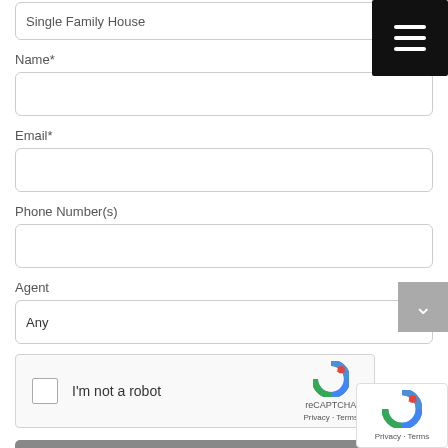Single Family House
Name*
Email*
Phone Number(s)
Agent
Any
I'm not a robot
reCAPTCHA
Privacy · Terms
Send Request